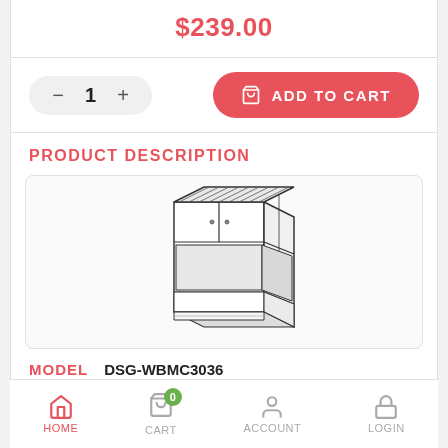$239.00
1 ADD TO CART
PRODUCT DESCRIPTION
[Figure (illustration): Isometric line drawing of a microwave wall cabinet (DSG-WBMC3036) showing upper cabinet doors and lower microwave opening.]
MODEL   DSG-WBMC3036
Microwave Wall Cabinet
HOME   CART (0)   ACCOUNT   LOGIN